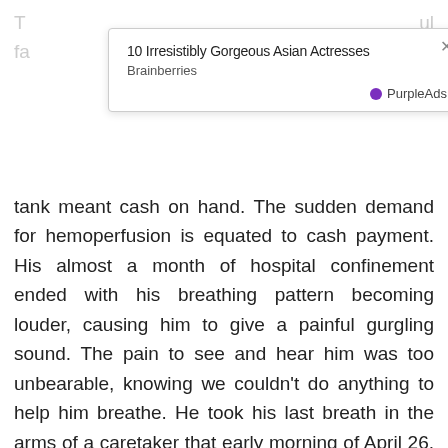tank meant cash on hand. The sudden demand for hemoperfusion is equated to cash payment. His almost a month of hospital confinement ended with his breathing pattern becoming louder, causing him to give a painful gurgling sound. The pain to see and hear him was too unbearable, knowing we couldn't do anything to help him breathe. He took his last breath in the arms of a caretaker that early morning of April 26, 2021.
The country was in strict lockdown; thus, travel was not an option. We stay in Novaliches, Quezon